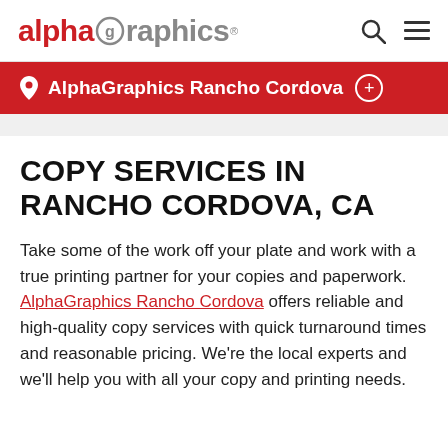alphagraphics [logo] [search icon] [menu icon]
AlphaGraphics Rancho Cordova
COPY SERVICES IN RANCHO CORDOVA, CA
Take some of the work off your plate and work with a true printing partner for your copies and paperwork. AlphaGraphics Rancho Cordova offers reliable and high-quality copy services with quick turnaround times and reasonable pricing. We're the local experts and we'll help you with all your copy and printing needs.